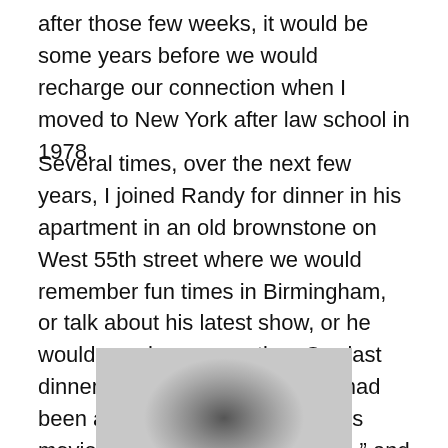after those few weeks, it would be some years before we would recharge our connection when I moved to New York after law school in 1978.
Several times, over the next few years, I joined Randy for dinner in his apartment in an old brownstone on West 55th street where we would remember fun times in Birmingham, or talk about his latest show, or he would coach me on acting. Our last dinner was in early 1981. 1980 had been a great year for him with his movie debut in “Ordinary People,” and appearing as FDR all across the U.S. in a National Touring company of “Annie,” so I had expected him to be full of life and
[Figure (photo): Black and white photograph of a person, showing head and upper shoulders, partially cropped at bottom of page.]